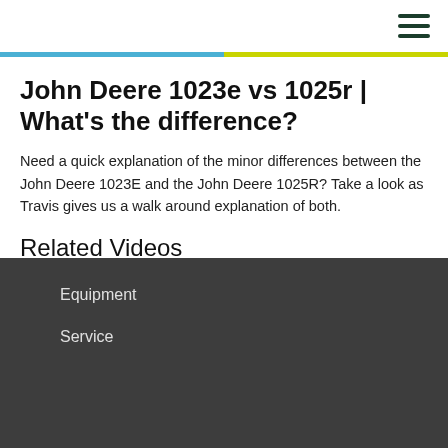≡
John Deere 1023e vs 1025r | What's the difference?
Need a quick explanation of the minor differences between the John Deere 1023E and the John Deere 1025R? Take a look as Travis gives us a walk around explanation of both.
Related Videos
Equipment
Service